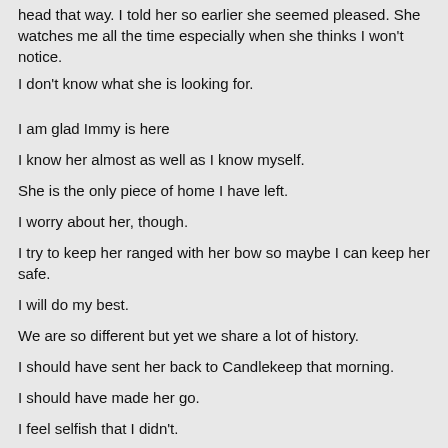head that way. I told her so earlier she seemed pleased. She watches me all the time especially when she thinks I won't notice.
I don't know what she is looking for.
I am glad Immy is here
I know her almost as well as I know myself.
She is the only piece of home I have left.
I worry about her, though.
I try to keep her ranged with her bow so maybe I can keep her safe.
I will do my best.
We are so different but yet we share a lot of history.
I should have sent her back to Candlekeep that morning.
I should have made her go.
I feel selfish that I didn't.